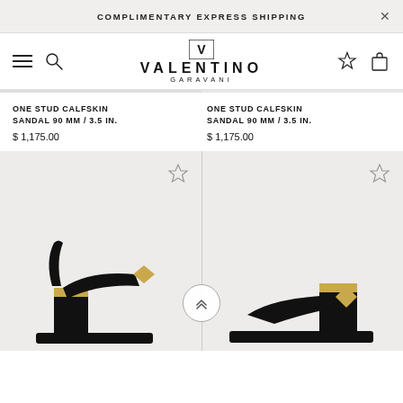COMPLIMENTARY EXPRESS SHIPPING
[Figure (logo): Valentino Garavani logo with V emblem]
ONE STUD CALFSKIN SANDAL 90 MM / 3.5 IN.
$ 1,175.00
ONE STUD CALFSKIN SANDAL 90 MM / 3.5 IN.
$ 1,175.00
[Figure (photo): Two Valentino Garavani One Stud calfskin sandals in black with gold stud detail, displayed side by side on a beige background]